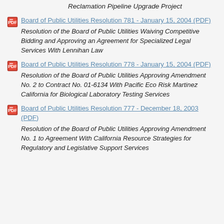Reclamation Pipeline Upgrade Project
Board of Public Utilities Resolution 781 - January 15, 2004 (PDF)
Resolution of the Board of Public Utilities Waiving Competitive Bidding and Approving an Agreement for Specialized Legal Services With Lennihan Law
Board of Public Utilities Resolution 778 - January 15, 2004 (PDF)
Resolution of the Board of Public Utilities Approving Amendment No. 2 to Contract No. 01-6134 With Pacific Eco Risk Martinez California for Biological Laboratory Testing Services
Board of Public Utilities Resolution 777 - December 18, 2003 (PDF)
Resolution of the Board of Public Utilities Approving Amendment No. 1 to Agreement With California Resource Strategies for Regulatory and Legislative Support Services